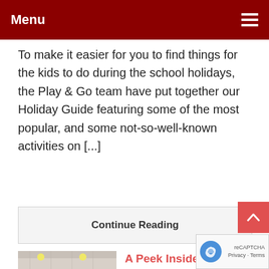Menu
To make it easier for you to find things for the kids to do during the school holidays, the Play & Go team have put together our Holiday Guide featuring some of the most popular, and some not-so-well-known activities on [...]
Continue Reading
[Figure (photo): Photo of Santa Claus figure inside Santaland at Myer Adelaide, with candy cane decorations and festive displays]
A Peek Inside Santaland | Myer Adelaide, Rundle Mall | 2016
November 28, 2016
[ November 12, 2016 to December 24, 2016. ]
A Peek Inside Santaland at Myer Adelaide
A visit to Myer's SantaLand is such a fun experience for the little ones as each year they build a little village inside the